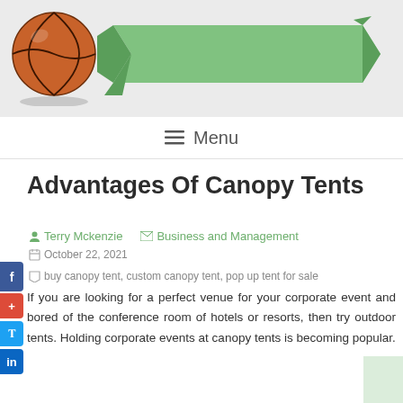[Figure (illustration): Website header banner with a basketball icon on the left and a green ribbon/banner graphic on the right, on a light grey background]
Menu
Advantages Of Canopy Tents
Terry Mckenzie   Business and Management
October 22, 2021   buy canopy tent, custom canopy tent, pop up tent for sale
If you are looking for a perfect venue for your corporate event and bored of the conference room of hotels or resorts, then try outdoor tents. Holding corporate events at canopy tents is becoming popular.